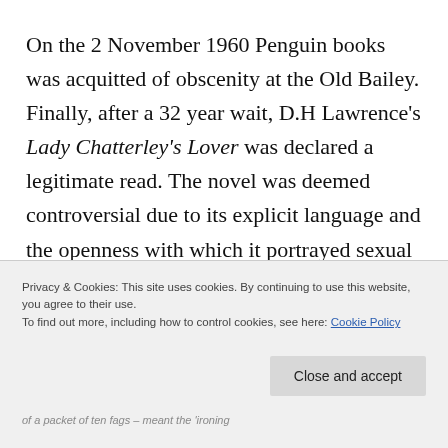On the 2 November 1960 Penguin books was acquitted of obscenity at the Old Bailey. Finally, after a 32 year wait, D.H Lawrence's Lady Chatterley's Lover was declared a legitimate read. The novel was deemed controversial due to its explicit language and the openness with which it portrayed sexual acts. But what really rattled the establishment was the suggestion that a toff might
Privacy & Cookies: This site uses cookies. By continuing to use this website, you agree to their use.
To find out more, including how to control cookies, see here: Cookie Policy
Close and accept
of a packet of ten fags – meant the 'ironing